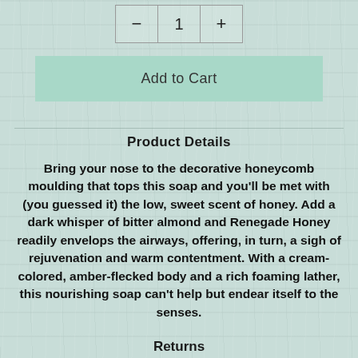[Figure (screenshot): Quantity selector with minus button, value '1', and plus button]
[Figure (screenshot): Add to Cart button with mint/sage green background]
Product Details
Bring your nose to the decorative honeycomb moulding that tops this soap and you'll be met with (you guessed it) the low, sweet scent of honey. Add a dark whisper of bitter almond and Renegade Honey readily envelops the airways, offering, in turn, a sigh of rejuvenation and warm contentment. With a cream-colored, amber-flecked body and a rich foaming lather, this nourishing soap can't help but endear itself to the senses.
Returns